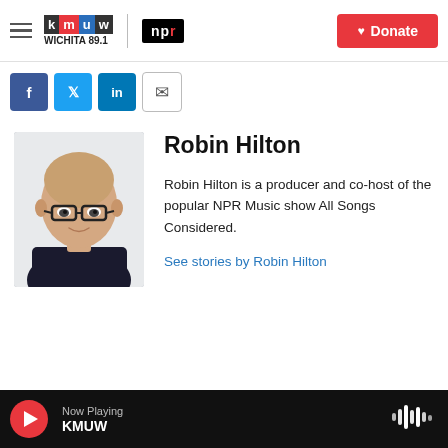KMUW WICHITA 89.1 | NPR — Donate
[Figure (screenshot): Social share buttons: Facebook, Twitter, LinkedIn, Email]
[Figure (photo): Headshot photo of Robin Hilton, a bald man with glasses wearing a dark shirt]
Robin Hilton
Robin Hilton is a producer and co-host of the popular NPR Music show All Songs Considered.
See stories by Robin Hilton
Now Playing KMUW